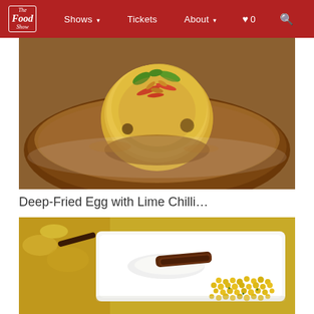The Food Show — Shows, Tickets, About, ♥ 0, Search
[Figure (photo): Close-up photo of a deep-fried egg in a bowl of broth, garnished with crispy shallots, red chillies, and fresh herbs, served in a dark broth with aromatics.]
Deep-Fried Egg with Lime Chilli…
[Figure (photo): Close-up photo of a plated dish featuring yellow couscous/corn kernels, a dark anchovy fillet, and a smear of white sauce on a white rectangular plate, with yellow grain/lentil dish on the left side.]